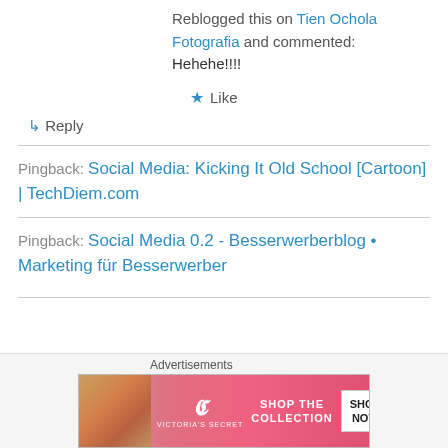Reblogged this on Tien Ochola Fotografia and commented:
Hehehe!!!!
★ Like
↳ Reply
Pingback: Social Media: Kicking It Old School [Cartoon] | TechDiem.com
Pingback: Social Media 0.2 - Besserwerberblog • Marketing für Besserwerber
Advertisements
[Figure (photo): Victoria's Secret advertisement banner: Shop The Collection - Shop Now]